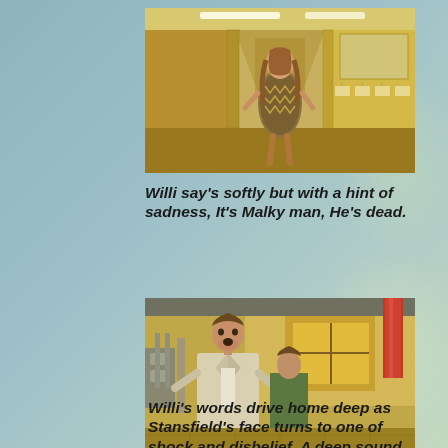[Figure (photo): A woman with long hair standing in what appears to be an institutional hallway or bathroom with sinks and mirrors visible on the right side. Warm yellowish-brown tones.]
Willi say's softly but with a hint of sadness, It's Malky man, He's dead.
[Figure (photo): A man in a light beige suit with an open collar shirt appears shocked, standing in what looks like an industrial or institutional bathroom. Another younger person is visible behind him. A red pipe and window with yellow light are visible in the background.]
Willi's words drive home deep as Stansfield's face turns to one of shock and disbelief, A deep sound of wind in a tunnel is heard to produce the sound